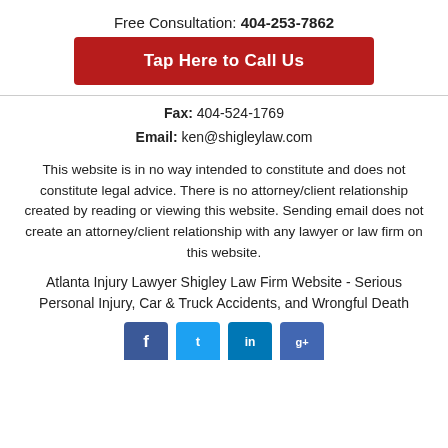Free Consultation: 404-253-7862
Tap Here to Call Us
Fax: 404-524-1769
Email: ken@shigleylaw.com
This website is in no way intended to constitute and does not constitute legal advice. There is no attorney/client relationship created by reading or viewing this website. Sending email does not create an attorney/client relationship with any lawyer or law firm on this website.
Atlanta Injury Lawyer Shigley Law Firm Website - Serious Personal Injury, Car & Truck Accidents, and Wrongful Death
[Figure (other): Social media icons: Facebook, Twitter, LinkedIn, and another social icon shown partially at bottom of page]